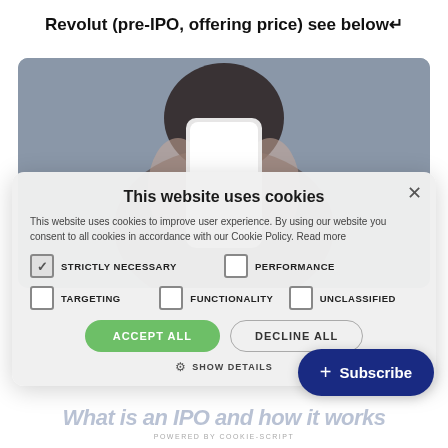Revolut (pre-IPO, offering price) see below↵
[Figure (photo): Photo of a person holding a smartphone up to their face, blurred background in grey/blue tones]
This website uses cookies
This website uses cookies to improve user experience. By using our website you consent to all cookies in accordance with our Cookie Policy. Read more
☑ STRICTLY NECESSARY  ☐ PERFORMANCE
☐ TARGETING  ☐ FUNCTIONALITY  ☐ UNCLASSIFIED
ACCEPT ALL  DECLINE ALL
⚙ SHOW DETAILS
POWERED BY COOKIE-SCRIPT
+ Subscribe
What is an IPO and how it works